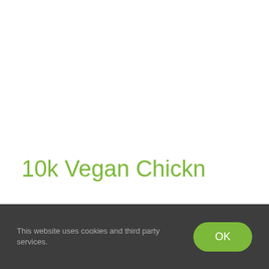10k Vegan Chickn
This website uses cookies and third party services.